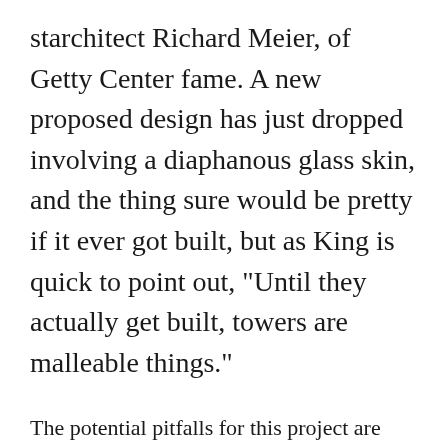starchitect Richard Meier, of Getty Center fame. A new proposed design has just dropped involving a diaphanous glass skin, and the thing sure would be pretty if it ever got built, but as King is quick to point out, "Until they actually get built, towers are malleable things."
The potential pitfalls for this project are many: 1) the developers don't yet own the land they want to build on; 2) there hasn't even been a single public hearing on the